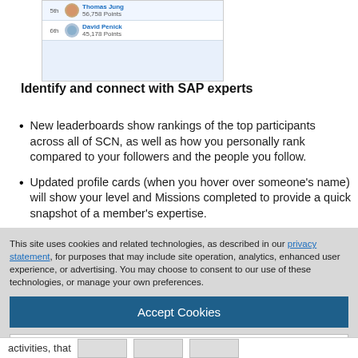[Figure (screenshot): Leaderboard screenshot showing 5th place Thomas Jung with 56,758 Points and 6th place David Penick with 45,178 Points]
Identify and connect with SAP experts
New leaderboards show rankings of the top participants across all of SCN, as well as how you personally rank compared to your followers and the people you follow.
Updated profile cards (when you hover over someone's name) will show your level and Missions completed to provide a quick snapshot of a member's expertise.
This site uses cookies and related technologies, as described in our privacy statement, for purposes that may include site operation, analytics, enhanced user experience, or advertising. You may choose to consent to our use of these technologies, or manage your own preferences.
Accept Cookies
More Information
Privacy Policy | Powered by: TrustArc
activities, that